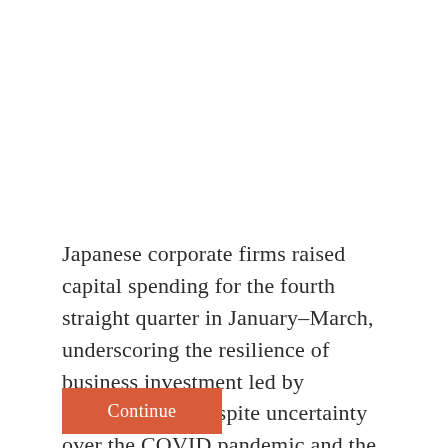Japanese corporate firms raised capital spending for the fourth straight quarter in January–March, underscoring the resilience of business investment led by manufacturers despite uncertainty over the COVID pandemic and the war in Ukraine.
Continue